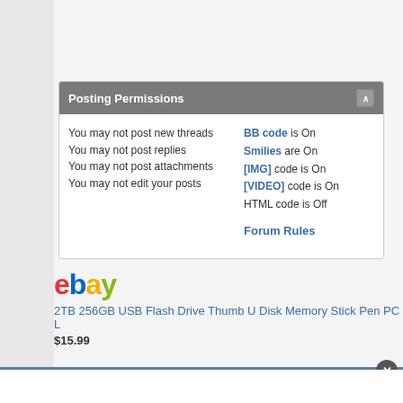Posting Permissions
You may not post new threads
You may not post replies
You may not post attachments
You may not edit your posts
BB code is On
Smilies are On
[IMG] code is On
[VIDEO] code is On
HTML code is Off
Forum Rules
[Figure (logo): eBay logo in multicolor letters]
2TB 256GB USB Flash Drive Thumb U Disk Memory Stick Pen PC L
$15.99